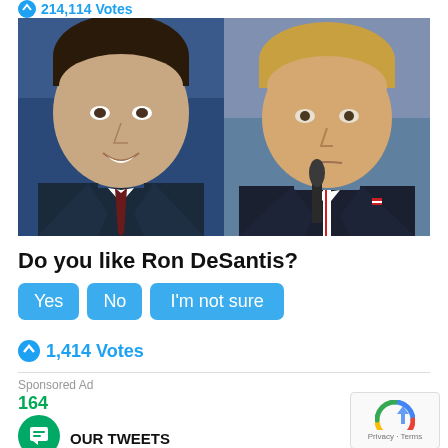214,114 Votes
[Figure (photo): Side-by-side photos of Ron DeSantis (left, smiling, wearing a dark suit and dark tie, blue background) and Donald Trump (right, serious expression, wearing a dark suit with red-and-white striped tie, holding a microphone)]
Do you like Ron DeSantis?
Yes  No  I'm not sure
1,414 Votes
Sponsored Ad
164
OUR TWEETS